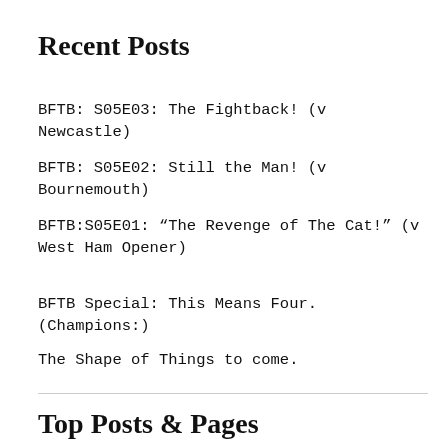Recent Posts
BFTB: S05E03: The Fightback! (v Newcastle)
BFTB: S05E02: Still the Man! (v Bournemouth)
BFTB:S05E01: “The Revenge of The Cat!” (v West Ham Opener)
BFTB Special: This Means Four.(Champions:)
The Shape of Things to come.
Top Posts & Pages